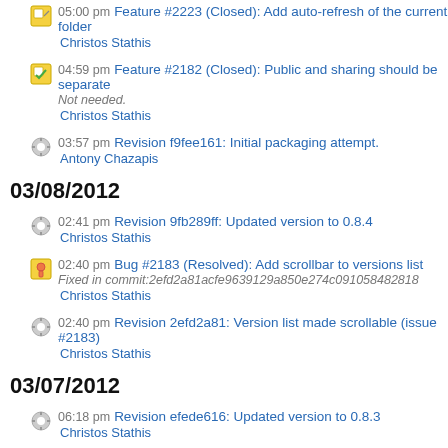05:00 pm Feature #2223 (Closed): Add auto-refresh of the current folder
Christos Stathis
04:59 pm Feature #2182 (Closed): Public and sharing should be separate
Not needed.
Christos Stathis
03:57 pm Revision f9fee161: Initial packaging attempt.
Antony Chazapis
03/08/2012
02:41 pm Revision 9fb289ff: Updated version to 0.8.4
Christos Stathis
02:40 pm Bug #2183 (Resolved): Add scrollbar to versions list
Fixed in commit:2efd2a81acfe9639129a850e274c091058482818
Christos Stathis
02:40 pm Revision 2efd2a81: Version list made scrollable (issue #2183)
Christos Stathis
03/07/2012
06:18 pm Revision efede616: Updated version to 0.8.3
Christos Stathis
06:17 pm Revision bda6984c: Fixed double display of versions
Christos Stathis
06:05 pm Feature #2181 (Resolved): Feedback url should be parametric
Fixed in commit:0a08a19a6b5d576aba7a6234ba8763cf71899858